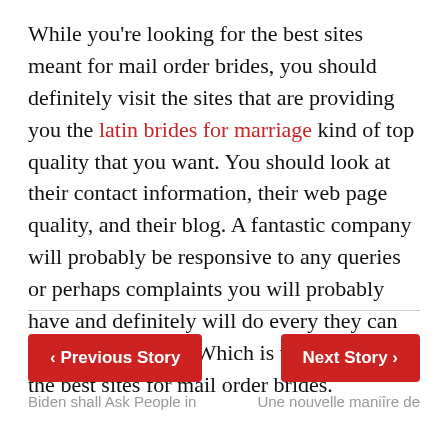While you're looking for the best sites meant for mail order brides, you should definitely visit the sites that are providing you the latin brides for marriage kind of top quality that you want. You should look at their contact information, their web page quality, and their blog. A fantastic company will probably be responsive to any queries or perhaps complaints you will probably have and definitely will do every they can to help you happy. Which is way is made the best sites for mail order brides.
< Previous Story | Next Story > | Biden shall Ask People in | Une nouvelle manière de